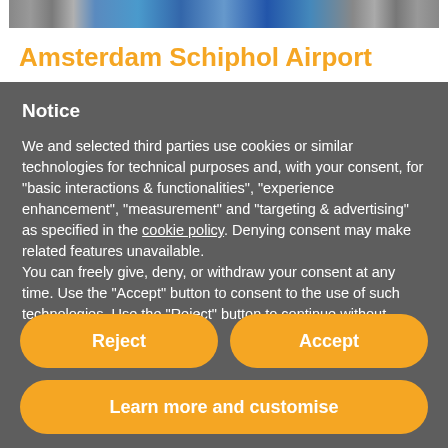[Figure (photo): Partial view of Amsterdam Schiphol Airport with a KLM aircraft on the tarmac]
Amsterdam Schiphol Airport
Notice
We and selected third parties use cookies or similar technologies for technical purposes and, with your consent, for “basic interactions & functionalities”, “experience enhancement”, “measurement” and “targeting & advertising” as specified in the cookie policy. Denying consent may make related features unavailable.
You can freely give, deny, or withdraw your consent at any time. Use the “Accept” button to consent to the use of such technologies. Use the “Reject” button to continue without accepting.
Reject
Accept
Learn more and customise